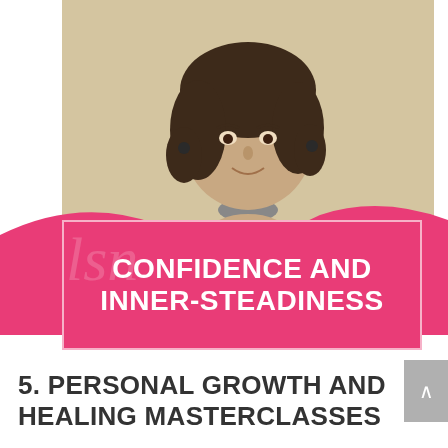[Figure (photo): A woman with curly dark hair wearing a black top, resting her chin on her clasped hands, smiling. Beige background. Below her photo is a pink banner with the text 'CONFIDENCE AND INNER-STEADINESS' in white bold uppercase letters inside a white-bordered box. A faint watermark script appears in the pink area.]
5. PERSONAL GROWTH AND HEALING MASTERCLASSES